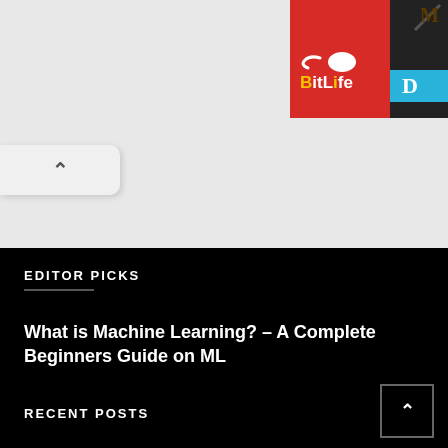[Figure (screenshot): BitLife advertisement banner (red background with yellow/white BitLife logo) and partial right advertisement (dark background with cyan D element)]
[Figure (screenshot): Scroll-up button (chevron up) on light gray background]
EDITOR PICKS
What is Machine Learning? – A Complete Beginners Guide on ML
RECENT POSTS